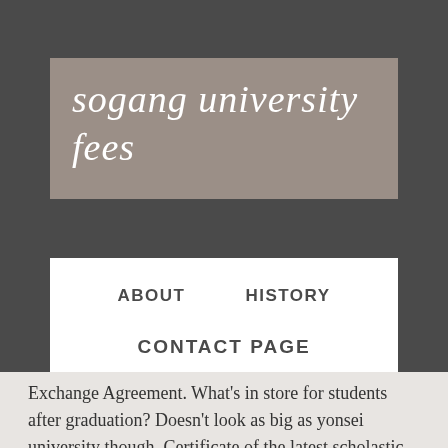sogang university fees
ABOUT    HISTORY
CONTACT PAGE
Exchange Agreement. What's in store for students after graduation? Doesn't look as big as yonsei university though. Certificate of the latest scholastic achievement 6. Required fields are marked *. Sogang University was